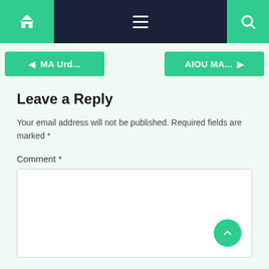Navigation bar with home icon, hamburger menu, and search icon
◄ MA Urd...
AIOU MA... ►
Leave a Reply
Your email address will not be published. Required fields are marked *
Comment *